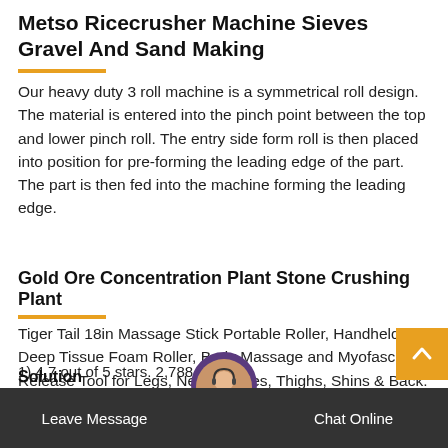Metso Ricecrusher Machine Sieves Gravel And Sand Making
Our heavy duty 3 roll machine is a symmetrical roll design. The material is entered into the pinch point between the top and lower pinch roll. The entry side form roll is then placed into position for pre-forming the leading edge of the part. The part is then fed into the machine forming the leading edge.
Gold Ore Concentration Plant Stone Crushing Plant
Tiger Tail 18in Massage Stick Portable Roller, Handheld, Deep Tissue Foam Roller, Body Massage and Myofascial Release Tool for Legs, Neck, Calves, Thighs, Shins & Back. The Orginal 18, Made in USA, Orange Black. 18 Inch (Pa...
1) 4.7 out of 5 stars. 2,788...
Solution
Leave Message   Chat Online